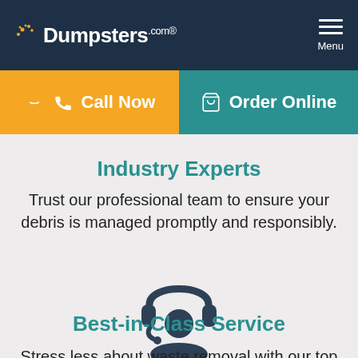Dumpsters.com | Menu
📞 Call Now | 🛒 Order Online
Industry Experts
Trust our professional team to ensure your debris is managed promptly and responsibly.
[Figure (illustration): Customer service representative icon — silhouette with headset]
Best-in-Class Service
Stress less about waste removal with our top